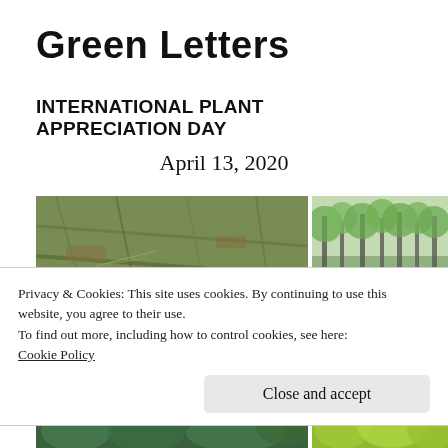Green Letters
INTERNATIONAL PLANT APPRECIATION DAY
April 13, 2020
[Figure (photo): Two side-by-side nature photos: left shows close-up of pine needles/branches in green and brown tones; right shows a forest of thin trees with green foliage.]
[Figure (photo): Two side-by-side plant photos partially visible at bottom: left shows green plant/fern close-up; right shows yellow-green plant/flower clusters.]
Privacy & Cookies: This site uses cookies. By continuing to use this website, you agree to their use.
To find out more, including how to control cookies, see here:
Cookie Policy
Close and accept